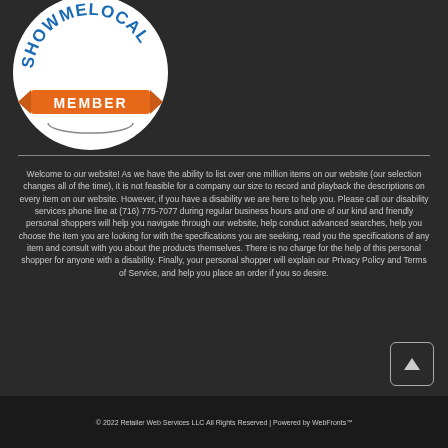[Figure (logo): ShowMeLocal Member badge — circular white badge with blue text SHOWMELOCAL arched at top and orange MEMBER ribbon banner at bottom]
Welcome to our website! As we have the ability to list over one million items on our website (our selection changes all of the time), it is not feasible for a company our size to record and playback the descriptions on every item on our website. However, if you have a disability we are here to help you. Please call our disability services phone line at (716) 775-7077 during regular business hours and one of our kind and friendly personal shoppers will help you navigate through our website, help conduct advanced searches, help you choose the item you are looking for with the specifications you are seeking, read you the specifications of any item and consult with you about the products themselves. There is no charge for the help of this personal shopper for anyone with a disability. Finally, your personal shopper will explain our Privacy Policy and Terms of Service, and help you place an order if you so desire.
© 2022 Retailer Web Services LLC All Rights Reserved | Powered by WebFronts™